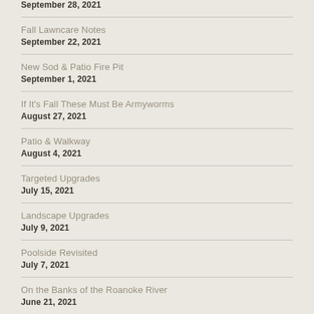September 28, 2021
Fall Lawncare Notes
September 22, 2021
New Sod & Patio Fire Pit
September 1, 2021
If It's Fall These Must Be Armyworms
August 27, 2021
Patio & Walkway
August 4, 2021
Targeted Upgrades
July 15, 2021
Landscape Upgrades
July 9, 2021
Poolside Revisited
July 7, 2021
On the Banks of the Roanoke River
June 21, 2021